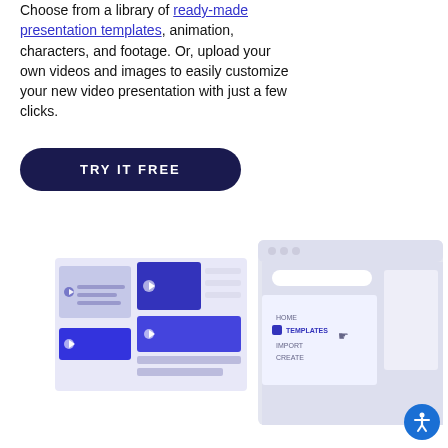Choose from a library of ready-made presentation templates, animation, characters, and footage. Or, upload your own videos and images to easily customize your new video presentation with just a few clicks.
TRY IT FREE
[Figure (screenshot): Left illustration showing a template library UI with video thumbnails and layout cards in blue and purple tones]
[Figure (screenshot): Right illustration showing a browser window UI with a sidebar menu listing HOME, TEMPLATES, IMPORT, CREATE and a cursor icon]